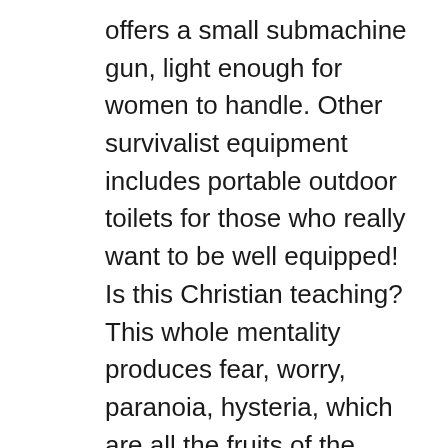offers a small submachine gun, light enough for women to handle. Other survivalist equipment includes portable outdoor toilets for those who really want to be well equipped! Is this Christian teaching? This whole mentality produces fear, worry, paranoia, hysteria, which are all the fruits of the flesh and the devil. Scripture teaches the comfort of the any-moment return of Jesus. The fruit of this new teaching gives it away, for it is anything but comfort.

All through the New Testament the stress is on spiritual readiness. We must then, as